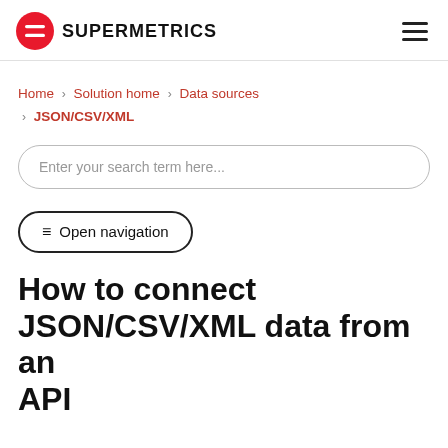SUPERMETRICS
Home › Solution home › Data sources › JSON/CSV/XML
Enter your search term here...
≡ Open navigation
How to connect JSON/CSV/XML data from an API